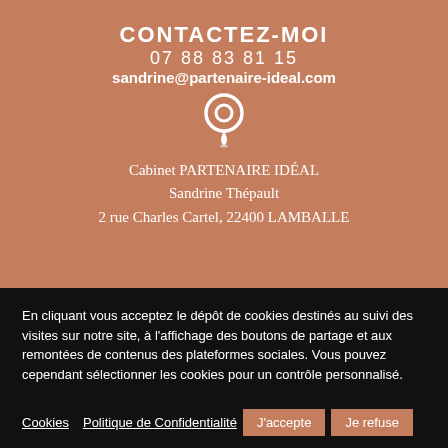CONTACTEZ-MOI
07 88 83 81 15
sandrine@partenaire-ideal.com
[Figure (illustration): White map pin / location icon]
Cabinet PARTENAIRE IDÉAL
Sandrine Thépault
2 rue Charles Cartel, 22400 LAMBALLE
En cliquant vous acceptez le dépôt de cookies destinés au suivi des visites sur notre site, à l'affichage des boutons de partage et aux remontées de contenus des plateformes sociales. Vous pouvez cependant sélectionner les cookies pour un contrôle personnalisé.
Cookies | Politique de Confidentialité | J'accepte | Je refuse